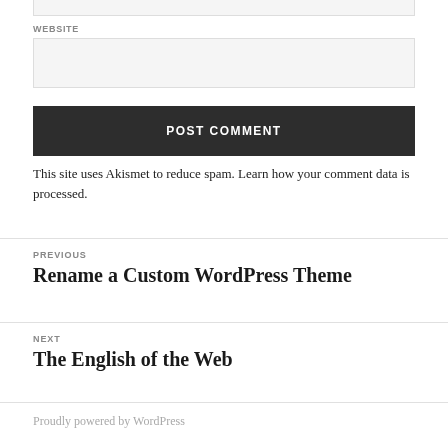WEBSITE
This site uses Akismet to reduce spam. Learn how your comment data is processed.
PREVIOUS
Rename a Custom WordPress Theme
NEXT
The English of the Web
Proudly powered by WordPress